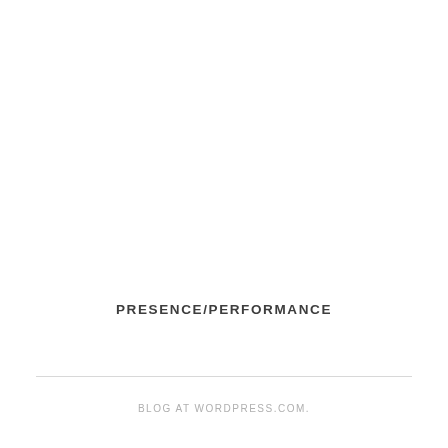PRESENCE/PERFORMANCE
BLOG AT WORDPRESS.COM.